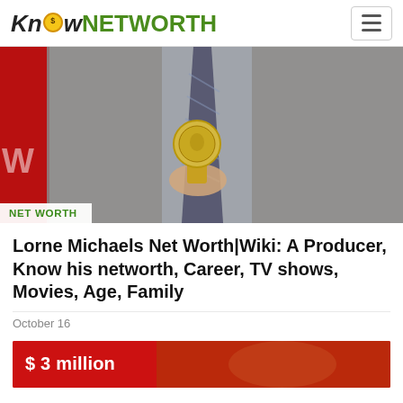KnowNETWORTH
[Figure (photo): Man in grey suit holding a gold award/medallion, standing in front of a red background. Photo shows torso and hands only.]
NET WORTH
Lorne Michaels Net Worth|Wiki: A Producer, Know his networth, Career, TV shows, Movies, Age, Family
October 16
[Figure (photo): Red background image with text '$ 3 million' overlaid in white.]